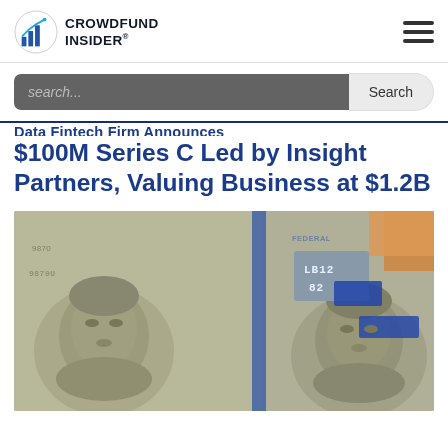CROWDFUND INSIDER®
$100M Series C Led by Insight Partners, Valuing Business at $1.2B
[Figure (photo): Close-up photograph of US $100 dollar bills showing Benjamin Franklin's portrait and Federal Reserve markings, with serial number LB12 82 visible]